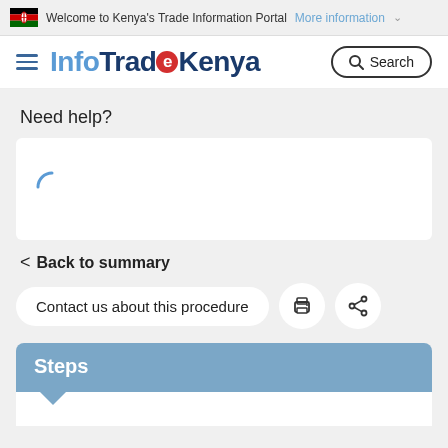Welcome to Kenya's Trade Information Portal More information
InfoTradeKenya
Need help?
[Figure (screenshot): Loading spinner (curved arc) inside a white card]
< Back to summary
Contact us about this procedure
Steps